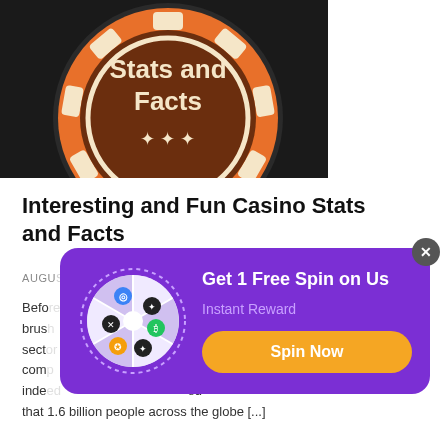[Figure (illustration): Casino chip on dark background with text 'Stats and Facts' and three stars, orange rim with white notches]
Interesting and Fun Casino Stats and Facts
AUGUS
Before ... broad brush ... sector ... a com... indeed ... ed that 1.6 billion people across the globe [...]
[Figure (infographic): Purple popup modal with spin wheel, title 'Get 1 Free Spin on Us', subtitle 'Instant Reward', and orange 'Spin Now' button. Close X button in top right.]